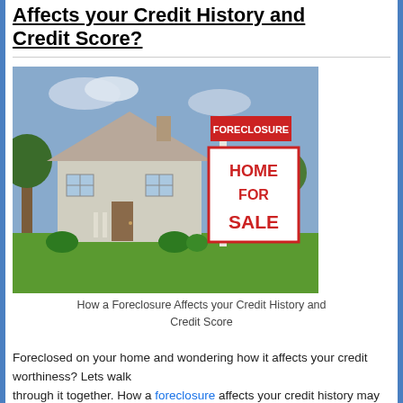Affects your Credit History and Credit Score?
[Figure (photo): Photograph of a suburban house with a real estate sign reading FORECLOSURE at top and HOME FOR SALE below it on the front lawn, with trees and blue sky in the background.]
How a Foreclosure Affects your Credit History and Credit Score
Foreclosed on your home and wondering how it affects your credit worthiness? Lets walk through it together. How a foreclosure affects your credit history may vary based on your specific circumstances and how you manage your credit following the foreclosure. The